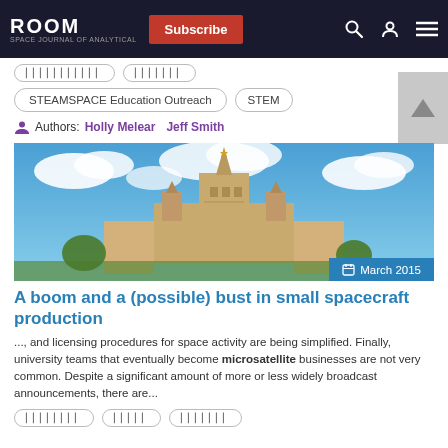ROOM | Subscribe
STEAMSPACE Education Outreach
STEM
Authors: Holly Melear   Jeff Smith
[Figure (photo): Photo of a large Soviet-era university building (likely Moscow State University) with tall spire against a blue cloudy sky. Date badge: March 2015]
A boom and a (possible) bust in small spacecraft production
..., and licensing procedures for space activity are being simplified. Finally, university teams that eventually become microsatellite businesses are not very common. Despite a significant amount of more or less widely broadcast announcements, there are...